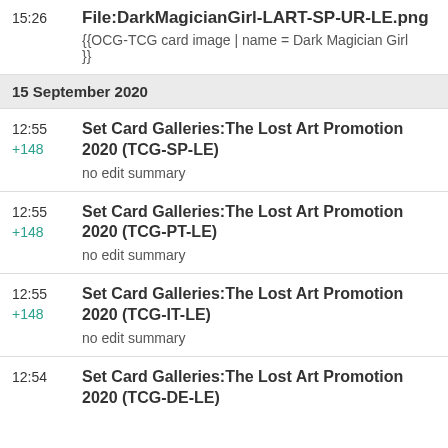15:26 File:DarkMagicianGirl-LART-SP-UR-LE.png
{{OCG-TCG card image | name = Dark Magician Girl }}
15 September 2020
12:55 +148 Set Card Galleries:The Lost Art Promotion 2020 (TCG-SP-LE)
no edit summary
12:55 +148 Set Card Galleries:The Lost Art Promotion 2020 (TCG-PT-LE)
no edit summary
12:55 +148 Set Card Galleries:The Lost Art Promotion 2020 (TCG-IT-LE)
no edit summary
12:54 Set Card Galleries:The Lost Art Promotion 2020 (TCG-DE-LE)